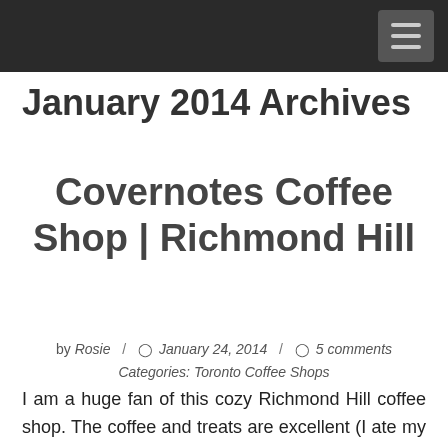January 2014 Archives
Covernotes Coffee Shop | Richmond Hill
by Rosie / ● January 24, 2014 / ○ 5 comments Categories: Toronto Coffee Shops
I am a huge fan of this cozy Richmond Hill coffee shop. The coffee and treats are excellent (I ate my huge delicious mocha brownie so fast I forgot to take a picture) but